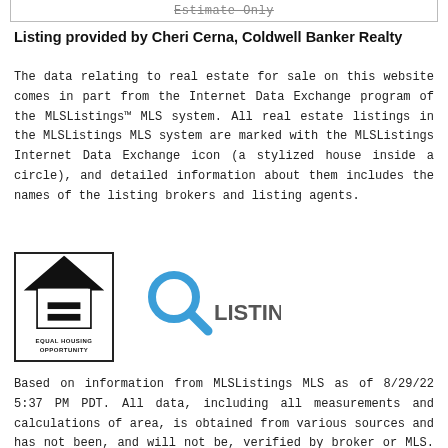Estimate Only
Listing provided by Cheri Cerna, Coldwell Banker Realty
The data relating to real estate for sale on this website comes in part from the Internet Data Exchange program of the MLSListings™ MLS system. All real estate listings in the MLSListings MLS system are marked with the MLSListings Internet Data Exchange icon (a stylized house inside a circle), and detailed information about them includes the names of the listing brokers and listing agents.
[Figure (logo): Equal Housing Opportunity logo — black house with equal sign inside]
[Figure (logo): MLSListings logo — blue magnifying glass with orange MLS text and LISTINGS text]
Based on information from MLSListings MLS as of 8/29/22 5:37 PM PDT. All data, including all measurements and calculations of area, is obtained from various sources and has not been, and will not be, verified by broker or MLS. All information should be independently reviewed and verified for accuracy. Properties may or may not be listed by the office/agent presenting the